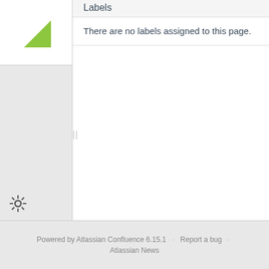[Figure (logo): Atlassian logo - green triangle shape on white background]
Labels
There are no labels assigned to this page.
Powered by Atlassian Confluence 6.15.1 · Report a bug · Atlassian News